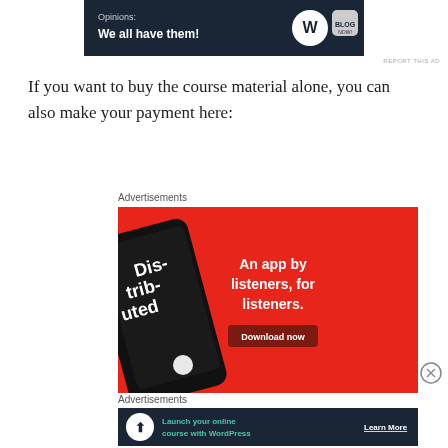[Figure (screenshot): Top advertisement banner with dark background showing 'Opinions: We all have them!' with WordPress logo]
REPORT THIS AD
If you want to buy the course material alone, you can also make your payment here:
Advertisements
[Figure (screenshot): Red advertisement for a podcast app showing a phone with 'Distributed' on screen and text 'An app by listeners, for listeners.' with a Download now button]
[Figure (other): Close/dismiss button (X in circle)]
Advertisements
[Figure (screenshot): Dark advertisement for WordPress: 'Launch your online course with WordPress' with Learn More button]